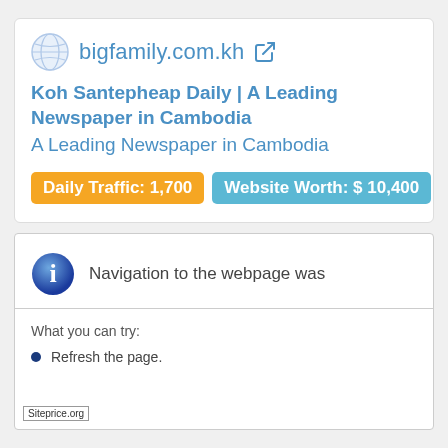bigfamily.com.kh
Koh Santepheap Daily | A Leading Newspaper in Cambodia
A Leading Newspaper in Cambodia
Daily Traffic: 1,700   Website Worth: $ 10,400
[Figure (screenshot): Browser error page showing 'Navigation to the webpage was' with info icon, 'What you can try:' and 'Refresh the page.' bullet, with Siteprice.org watermark]